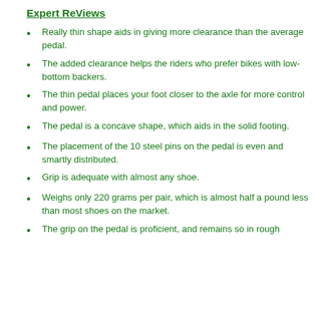Expert ReViews
Really thin shape aids in giving more clearance than the average pedal.
The added clearance helps the riders who prefer bikes with low-bottom backers.
The thin pedal places your foot closer to the axle for more control and power.
The pedal is a concave shape, which aids in the solid footing.
The placement of the 10 steel pins on the pedal is even and smartly distributed.
Grip is adequate with almost any shoe.
Weighs only 220 grams per pair, which is almost half a pound less than most shoes on the market.
The grip on the pedal is proficient, and remains so in rough